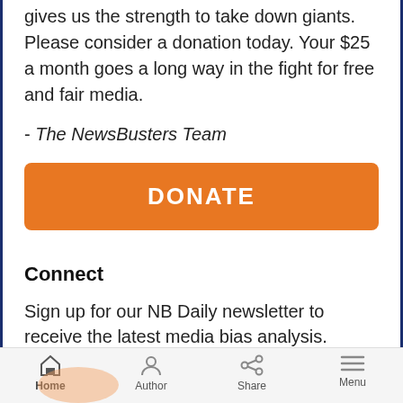gives us the strength to take down giants. Please consider a donation today. Your $25 a month goes a long way in the fight for free and fair media.
- The NewsBusters Team
[Figure (other): Orange DONATE button]
Connect
Sign up for our NB Daily newsletter to receive the latest media bias analysis.
[Figure (other): Email input field with placeholder 'Email *']
Home  Author  Share  Menu